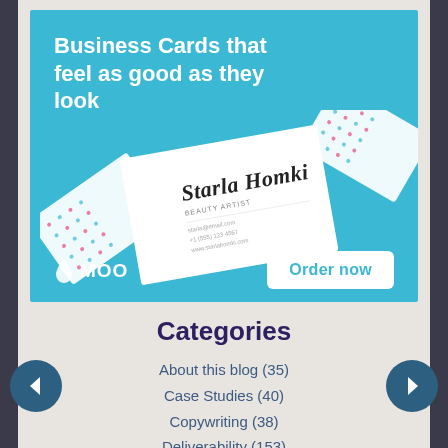[Figure (illustration): MOO Business Cards advertisement banner with teal/blue background showing business cards with 'Starla Homki' text, MOO logo with water drop icon, and 'Order now' white button. Text reads: 'Business Cards that feel as good as they look']
Categories
About this blog (35)
Case Studies (40)
Copywriting (38)
Deliverability (153)
Design & Layout (4)